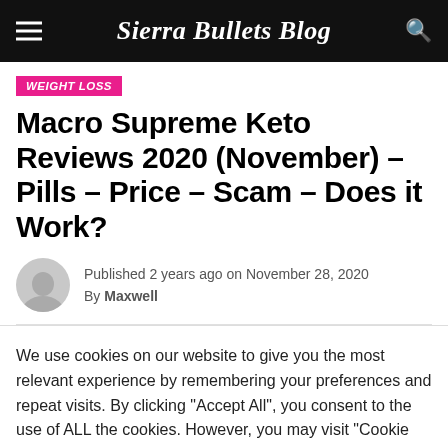Sierra Bullets Blog
WEIGHT LOSS
Macro Supreme Keto Reviews 2020 (November) – Pills – Price – Scam – Does it Work?
Published 2 years ago on November 28, 2020
By Maxwell
We use cookies on our website to give you the most relevant experience by remembering your preferences and repeat visits. By clicking "Accept All", you consent to the use of ALL the cookies. However, you may visit "Cookie Settings" to provide a controlled consent.